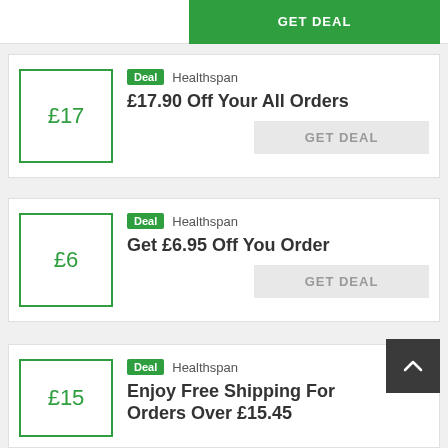[Figure (other): Green GET DEAL button from previous deal card (partially visible at top)]
Deal Healthspan — £17.90 Off Your All Orders — GET DEAL
Deal Healthspan — Get £6.95 Off You Order — GET DEAL
Deal Healthspan — Enjoy Free Shipping For Orders Over £15.45 (partially visible)